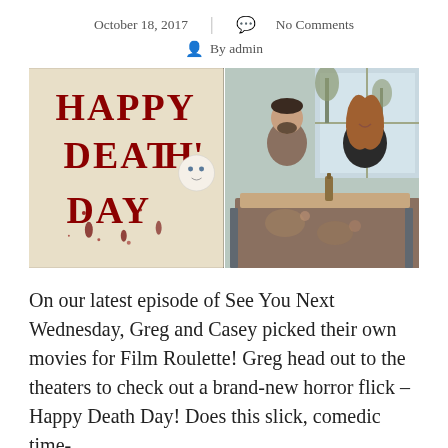October 18, 2017   |   No Comments
By admin
[Figure (photo): Two side-by-side photos: left is the 'Happy Death Day' movie poster with blood-red dripping text and a masked figure; right is a scene with a man and woman sitting at a table talking.]
On our latest episode of See You Next Wednesday, Greg and Casey picked their own movies for Film Roulette! Greg head out to the theaters to check out a brand-new horror flick – Happy Death Day! Does this slick, comedic time-